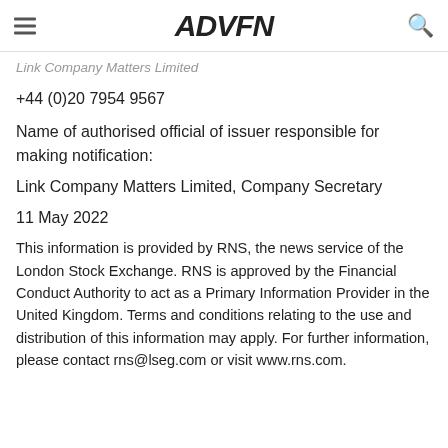ADVFN
Link Company Matters Limited
+44 (0)20 7954 9567
Name of authorised official of issuer responsible for making notification:
Link Company Matters Limited, Company Secretary
11 May 2022
This information is provided by RNS, the news service of the London Stock Exchange. RNS is approved by the Financial Conduct Authority to act as a Primary Information Provider in the United Kingdom. Terms and conditions relating to the use and distribution of this information may apply. For further information, please contact rns@lseg.com or visit www.rns.com.